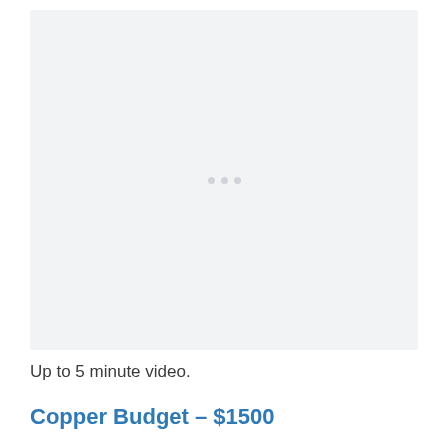[Figure (other): Video placeholder area with three loading dots in the center, light gray background]
Up to 5 minute video.
Copper Budget – $1500